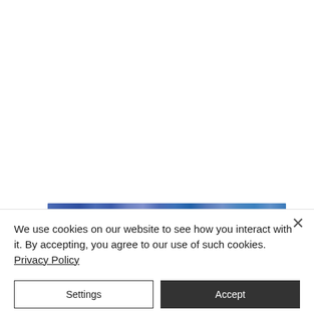[Figure (screenshot): White background area with a blue banner image strip visible near the bottom, partially obscured by a cookie consent dialog overlay.]
We use cookies on our website to see how you interact with it. By accepting, you agree to our use of such cookies. Privacy Policy
Settings
Accept